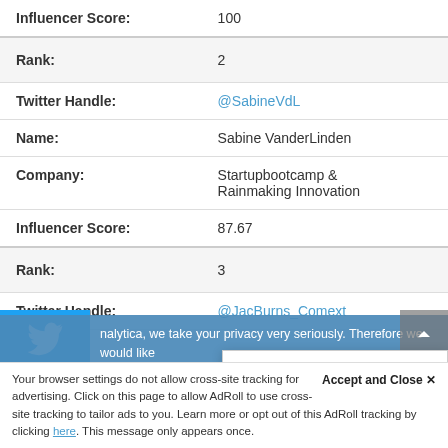| Field | Value |
| --- | --- |
| Influencer Score: | 100 |
| Rank: | 2 |
| Twitter Handle: | @SabineVdL |
| Name: | Sabine VanderLinden |
| Company: | Startupbootcamp & Rainmaking Innovation |
| Influencer Score: | 87.67 |
| Rank: | 3 |
| Twitter Handle: | @JacBurns_Comext |
nalytica, we take your privacy very seriously. Therefore we would like orm you what data we collect, th personal information. To learn ie Policy. If you have any questio
Onalytica
Hi there 🌻 What brings
Accept and Close ✕
Your browser settings do not allow cross-site tracking for advertising. Click on this page to allow AdRoll to use cross-site tracking to tailor ads to you. Learn more or opt out of this AdRoll tracking by clicking here. This message only appears once.